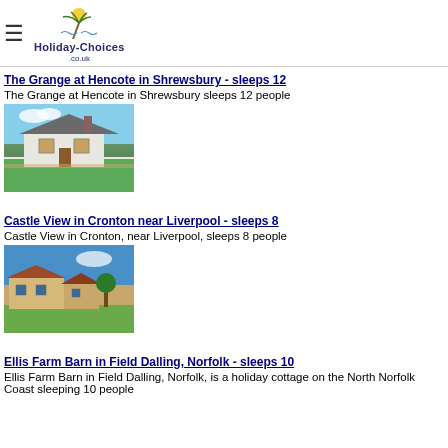Holiday-Choices.co.uk
The Grange at Hencote in Shrewsbury - sleeps 12
The Grange at Hencote in Shrewsbury sleeps 12 people
[Figure (photo): Exterior photo of The Grange at Hencote, a bungalow with garden]
Castle View in Cronton near Liverpool - sleeps 8
Castle View in Cronton, near Liverpool, sleeps 8 people
[Figure (photo): Exterior photo of Castle View in Cronton, a farmhouse with blue sky]
Ellis Farm Barn in Field Dalling, Norfolk - sleeps 10
Ellis Farm Barn in Field Dalling, Norfolk, is a holiday cottage on the North Norfolk Coast sleeping 10 people